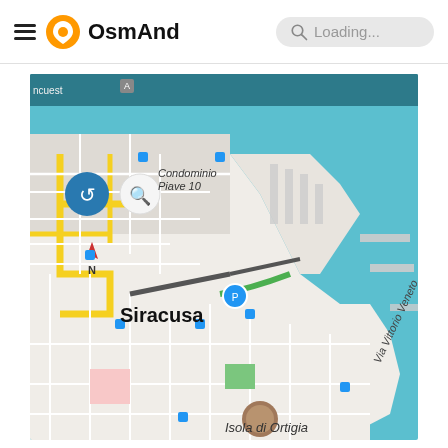OsmAnd — Loading...
[Figure (screenshot): OsmAnd navigation app screenshot showing a map of Siracusa, Italy (Isola di Ortigia area) with blue water, streets, harbor piers, yellow highlighted roads, and a 'Start' button overlay. Time shown: 14:13. Labels include Condominio Piave 10, Siracusa, Via Vittorio Veneto, Isola di Ortigia, Condominio Borgio.]